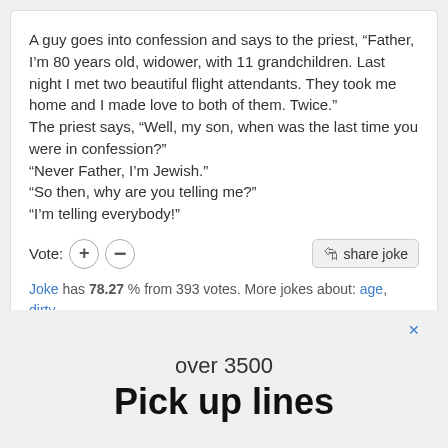A guy goes into confession and says to the priest, “Father, I’m 80 years old, widower, with 11 grandchildren. Last night I met two beautiful flight attendants. They took me home and I made love to both of them. Twice.” The priest says, “Well, my son, when was the last time you were in confession?” “Never Father, I’m Jewish.” “So then, why are you telling me?” “I’m telling everybody!”
Joke has 78.27 % from 393 votes. More jokes about: age, dirty, jewish, old people, priest
over 3500
Pick up lines